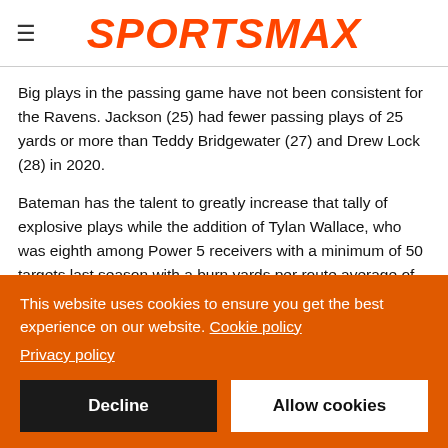SPORTSMAX
Big plays in the passing game have not been consistent for the Ravens. Jackson (25) had fewer passing plays of 25 yards or more than Teddy Bridgewater (27) and Drew Lock (28) in 2020.
Bateman has the talent to greatly increase that tally of explosive plays while the addition of Tylan Wallace, who was eighth among Power 5 receivers with a minimum of 50 targets last season with a burn yards per route average of 4.33, should further boost Jackson's hopes of bouncing back as a passer in
This website uses cookies to ensure you get the best experience on our website. Cookie policy
Privacy policy
Decline
Allow cookies